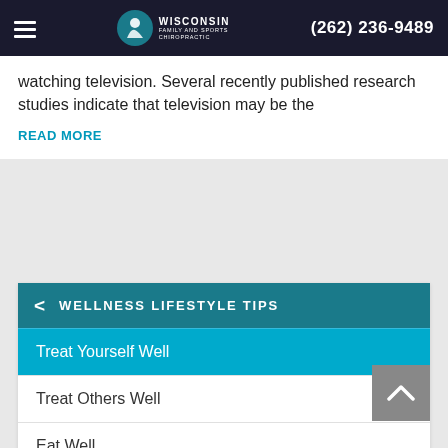Wisconsin Family and Sports Chiropractic — (262) 236-9489
watching television. Several recently published research studies indicate that television may be the
READ MORE
WELLNESS LIFESTYLE TIPS
Treat Yourself Well
Treat Others Well
Eat Well